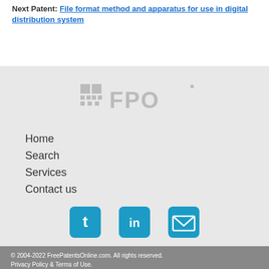Next Patent: File format method and apparatus for use in digital distribution system
[Figure (logo): FPO logo - stylized grid icon with FPO text in light gray]
Home
Search
Services
Contact us
[Figure (infographic): Social media icons: Twitter (t), LinkedIn (in), Email (envelope) - blue rounded square buttons]
© 2004-2022 FreePatentsOnline.com. All rights reserved. Privacy Policy & Terms of Use.